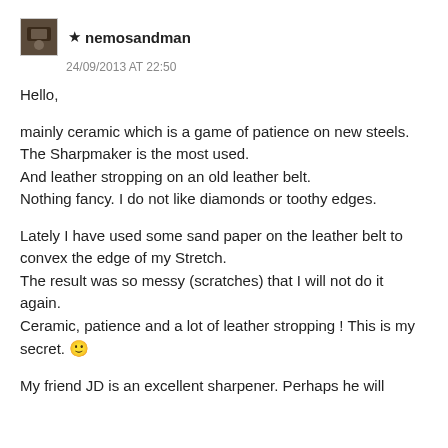★ nemosandman
24/09/2013 AT 22:50
Hello,

mainly ceramic which is a game of patience on new steels. The Sharpmaker is the most used.
And leather stropping on an old leather belt.
Nothing fancy. I do not like diamonds or toothy edges.

Lately I have used some sand paper on the leather belt to convex the edge of my Stretch.
The result was so messy (scratches) that I will not do it again.
Ceramic, patience and a lot of leather stropping ! This is my secret. 🙂

My friend JD is an excellent sharpener. Perhaps he will